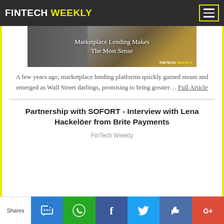FINTECH WEEKLY
[Figure (photo): Article thumbnail image showing stacked coins with text 'Marketplace Lending Makes The Most Sense' and FINTECH WEEKLY logo]
A few years ago, marketplace lending platforms quickly gained steam and emerged as Wall Street darlings, promising to bring greater… Full Article
Partnership with SOFORT - Interview with Lena Hackelöer from Brite Payments
FinTech Weekly